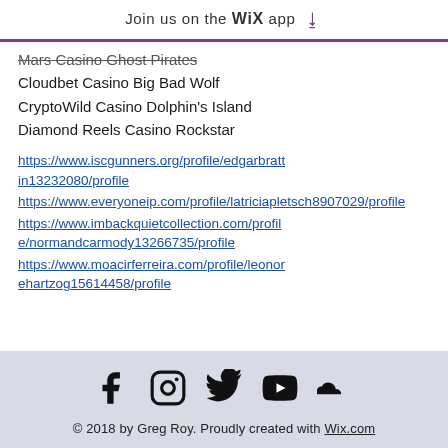Join us on the WiX app ⬇
Mars Casino Ghost Pirates
Cloudbet Casino Big Bad Wolf
CryptoWild Casino Dolphin's Island
Diamond Reels Casino Rockstar
https://www.iscgunners.org/profile/edgarbrattin13232080/profile
https://www.everyoneip.com/profile/latriciapletsch8907029/profile
https://www.imbackquietcollection.com/profile/normandcarmody13266735/profile
https://www.moacirferreira.com/profile/leonorehartzog15614458/profile
© 2018 by Greg Roy. Proudly created with Wix.com